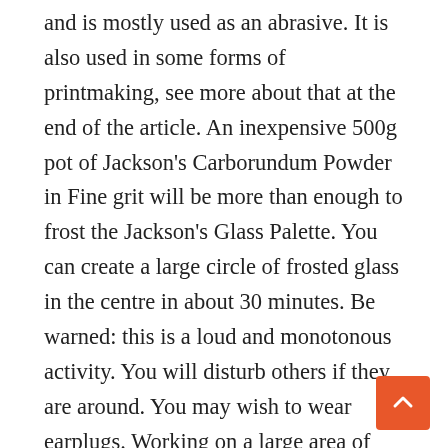and is mostly used as an abrasive. It is also used in some forms of printmaking, see more about that at the end of the article. An inexpensive 500g pot of Jackson's Carborundum Powder in Fine grit will be more than enough to frost the Jackson's Glass Palette. You can create a large circle of frosted glass in the centre in about 30 minutes. Be warned: this is a loud and monotonous activity. You will disturb others if they are around. You may wish to wear earplugs. Working on a large area of newspaper will let you clear up a lot faster and contain the ground glass bits that will be made. If you dampen the paper it will also keep your glass slab from sliding around as you work on it. Put a spoonful of grit on the palette and add enough water to make a very wet slurry. Place the muller on top and begin rotating it in a big circle, and